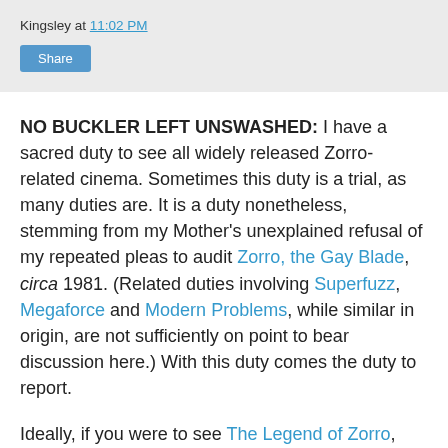Kingsley at 11:02 PM
Share
NO BUCKLER LEFT UNSWASHED: I have a sacred duty to see all widely released Zorro-related cinema. Sometimes this duty is a trial, as many duties are. It is a duty nonetheless, stemming from my Mother's unexplained refusal of my repeated pleas to audit Zorro, the Gay Blade, circa 1981. (Related duties involving Superfuzz, Megaforce and Modern Problems, while similar in origin, are not sufficiently on point to bear discussion here.) With this duty comes the duty to report.
Ideally, if you were to see The Legend of Zorro, you would see it when it was your day to take charge of your 10-year-old son's Cub Scout den so the other moms/dads could go to the ball game/day spa. Don't just take your own son and expect a bonding experience, as this movie will be best